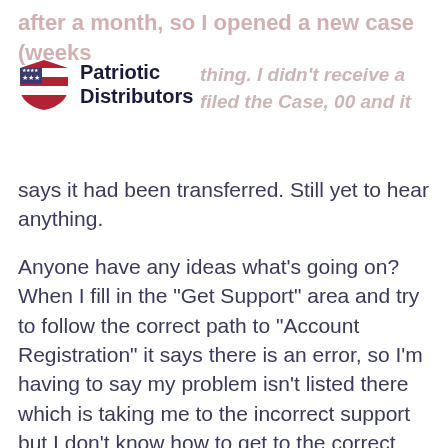[Figure (logo): Patriotic Distributors logo with red/white/blue shield icon and bold text]
says it had been transferred. Still yet to hear anything.
Anyone have any ideas what’s going on? When I fill in the “Get Support” area and try to follow the correct path to “Account Registration” it says there is an error, so I’m having to say my problem isn’t listed there which is taking me to the incorrect support but I don’t know how to get to the correct team, as it doesn’t seem there transfers are doing anything.
submitted by /u/bisjz1
[link] [comments]